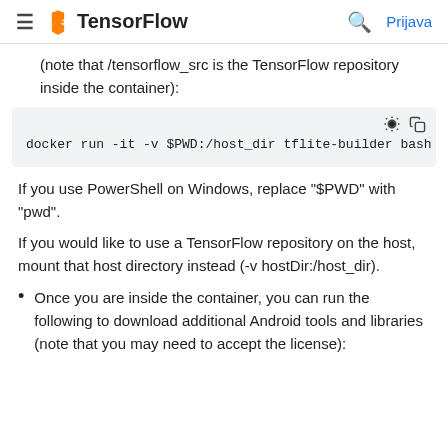TensorFlow  Prijava
(note that /tensorflow_src is the TensorFlow repository inside the container):
docker run -it -v $PWD:/host_dir tflite-builder bash
If you use PowerShell on Windows, replace "$PWD" with "pwd".
If you would like to use a TensorFlow repository on the host, mount that host directory instead (-v hostDir:/host_dir).
Once you are inside the container, you can run the following to download additional Android tools and libraries (note that you may need to accept the license):